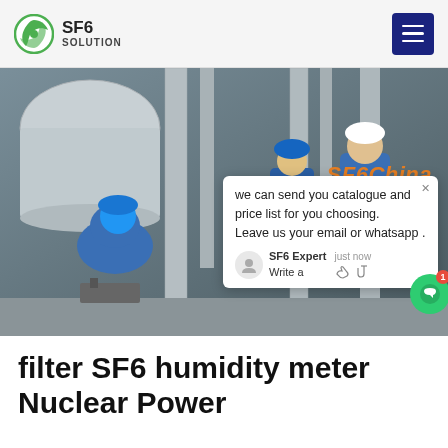SF6 SOLUTION
[Figure (photo): Workers in blue hard hats and protective gear inspecting large industrial SF6 gas equipment and pipes inside a nuclear power facility. A chat popup overlay is visible on the right side of the image with text: 'we can send you catalogue and price list for you choosing. Leave us your email or whatsapp .' Signed SF6 Expert, just now. SF6China watermark in orange bottom right.]
filter SF6 humidity meter Nuclear Power